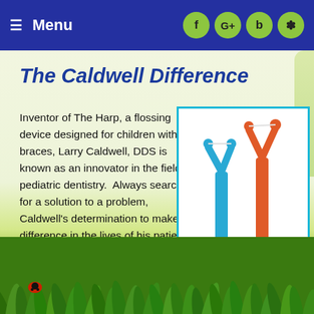Menu  f  G+  b  *
The Caldwell Difference
Inventor of The Harp, a flossing device designed for children with braces, Larry Caldwell, DDS is known as an innovator in the field of pediatric dentistry.  Always searching for a solution to a problem, Caldwell's determination to make a difference in the lives of his patients sets both him – and his practice – apart
[Figure (photo): Blue and orange Y-shaped flossing devices (The Harp) standing upright in green grass with a ladybug, against a white background]